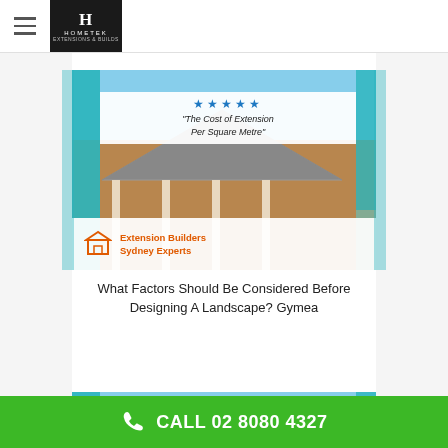HOMETEK - navigation header with hamburger menu and logo
[Figure (photo): House extension photo showing brick house with pergola columns, roof tiles, teal decorative strips, with white overlay showing 5 stars and 'The Cost of Extension Per Square Metre' and Extension Builders Sydney Experts badge]
What Factors Should Be Considered Before Designing A Landscape? Gymea
[Figure (photo): Partial house extension photo showing roof tiles and teal strips, with white overlay starting to show stars and 'The Cost of Extension']
CALL 02 8080 4327